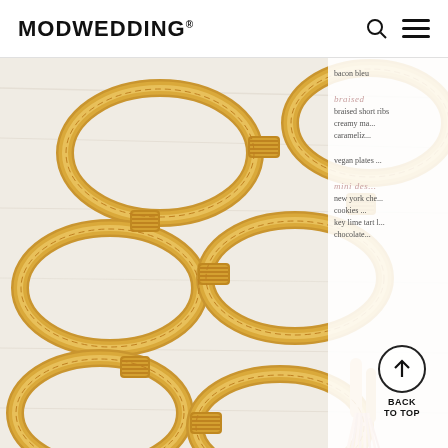MODWEDDING®
[Figure (photo): Close-up photo of woven rattan/bamboo decorative chain links in golden-yellow tones on a light wooden surface, with a partially visible wedding menu card on the right side showing text including 'braise', 'braised short ribs', 'creamy ma...', 'carameliz...', 'vegan plates...', 'mini des...', 'new york che...', 'cookies...', 'key lime tart l...', 'chocolate...' in serif font, and pink tassels visible in lower right corner]
BACK TO TOP